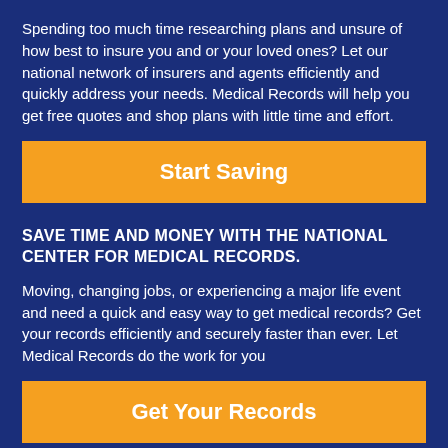Spending too much time researching plans and unsure of how best to insure you and or your loved ones? Let our national network of insurers and agents efficiently and quickly address your needs. Medical Records will help you get free quotes and shop plans with little time and effort.
Start Saving
SAVE TIME AND MONEY WITH THE NATIONAL CENTER FOR MEDICAL RECORDS.
Moving, changing jobs, or experiencing a major life event and need a quick and easy way to get medical records? Get your records efficiently and securely faster than ever. Let Medical Records do the work for you
Get Your Records